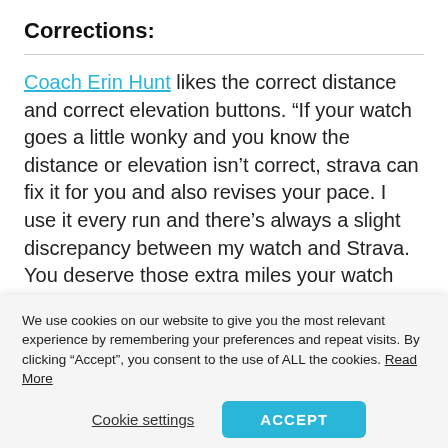Corrections:
Coach Erin Hunt likes the correct distance and correct elevation buttons. “If your watch goes a little wonky and you know the distance or elevation isn’t correct, strava can fix it for you and also revises your pace. I use it every run and there’s always a slight discrepancy between my watch and Strava. You deserve those extra miles your watch didn’t pick up.”
We use cookies on our website to give you the most relevant experience by remembering your preferences and repeat visits. By clicking “Accept”, you consent to the use of ALL the cookies. Read More
Cookie settings | ACCEPT